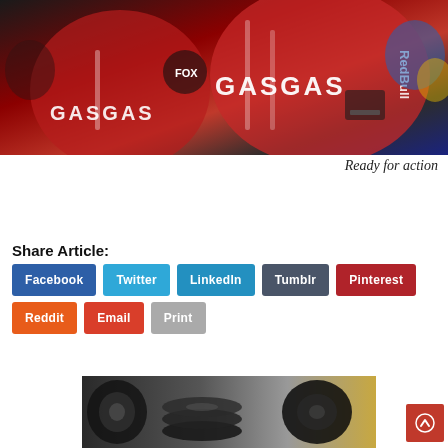[Figure (photo): Close-up photo of GASGAS branded motorcycle racing gear/jackets — red, white and black with Fox and Red Bull logos visible]
Ready for action
Share Article:
Facebook
Twitter
LinkedIn
Tumblr
Pinterest
Reddit
Email
Print
[Figure (photo): Photo of motorcycle tires/wheels stacked in a workshop]